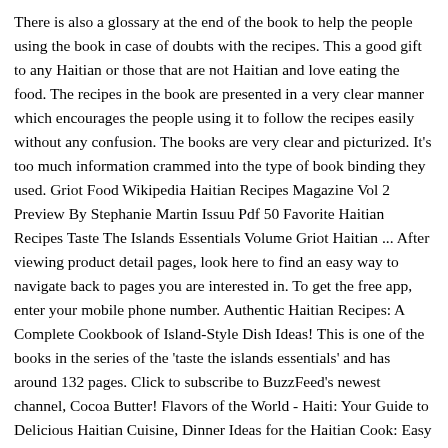There is also a glossary at the end of the book to help the people using the book in case of doubts with the recipes. This a good gift to any Haitian or those that are not Haitian and love eating the food. The recipes in the book are presented in a very clear manner which encourages the people using it to follow the recipes easily without any confusion. The books are very clear and picturized. It's too much information crammed into the type of book binding they used. Griot Food Wikipedia Haitian Recipes Magazine Vol 2 Preview By Stephanie Martin Issuu Pdf 50 Favorite Haitian Recipes Taste The Islands Essentials Volume Griot Haitian ... After viewing product detail pages, look here to find an easy way to navigate back to pages you are interested in. To get the free app, enter your mobile phone number. Authentic Haitian Recipes: A Complete Cookbook of Island-Style Dish Ideas! This is one of the books in the series of the 'taste the islands essentials' and has around 132 pages. Click to subscribe to BuzzFeed's newest channel, Cocoa Butter! Flavors of the World - Haiti: Your Guide to Delicious Haitian Cuisine, Dinner Ideas for the Haitian Cook: Easy Traditional Haitian Recipes, Haitian cuisine, with its strong African and French influences, holds a unique position in the world of Caribbean cooking. It also has some information about the history of the place and helps you make a lot of traditional Haitian food. 5 Best Haitian Cookbooks for your Kitchen. This is how